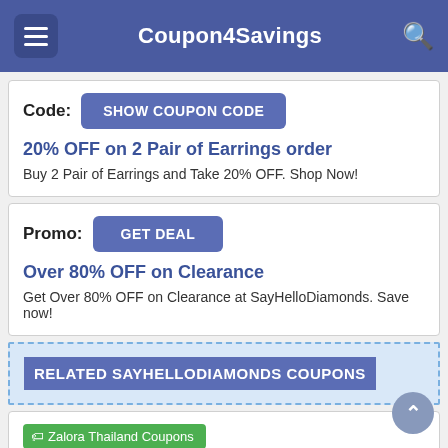Coupon4Savings
Code: SHOW COUPON CODE
20% OFF on 2 Pair of Earrings order
Buy 2 Pair of Earrings and Take 20% OFF. Shop Now!
Promo: GET DEAL
Over 80% OFF on Clearance
Get Over 80% OFF on Clearance at SayHelloDiamonds. Save now!
RELATED SAYHELLODIAMONDS COUPONS
Zalora Thailand Coupons
Promo: GET DEAL
FREE Shipping On $490+ Bahts Orders